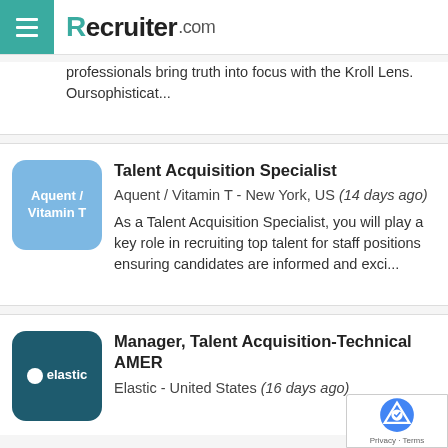Recruiter.com
professionals bring truth into focus with the Kroll Lens. Oursophisticat...
Talent Acquisition Specialist
Aquent / Vitamin T - New York, US (14 days ago)
As a Talent Acquisition Specialist, you will play a key role in recruiting top talent for staff positions ensuring candidates are informed and exci...
Manager, Talent Acquisition-Technical AMER
Elastic - United States (16 days ago)